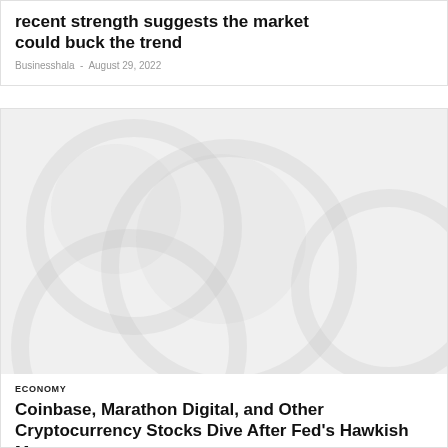recent strength suggests the market could buck the trend
Businesshala  -  August 29, 2022
[Figure (photo): Light gray background image with faint cryptocurrency coin watermark shapes, used as article thumbnail]
ECONOMY
Coinbase, Marathon Digital, and Other Cryptocurrency Stocks Dive After Fed's Hawkish Message